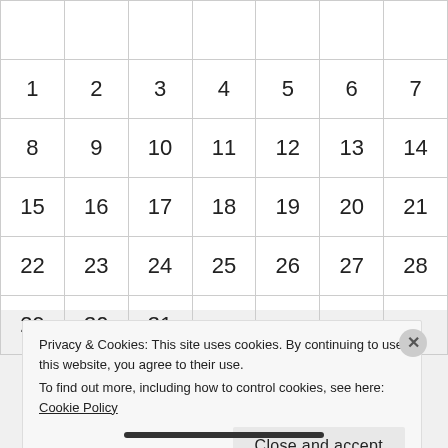| 1 | 2 | 3 | 4 | 5 | 6 | 7 |
| 8 | 9 | 10 | 11 | 12 | 13 | 14 |
| 15 | 16 | 17 | 18 | 19 | 20 | 21 |
| 22 | 23 | 24 | 25 | 26 | 27 | 28 |
| 29 | 30 | 31 |  |  |  |  |
Privacy & Cookies: This site uses cookies. By continuing to use this website, you agree to their use.
To find out more, including how to control cookies, see here: Cookie Policy